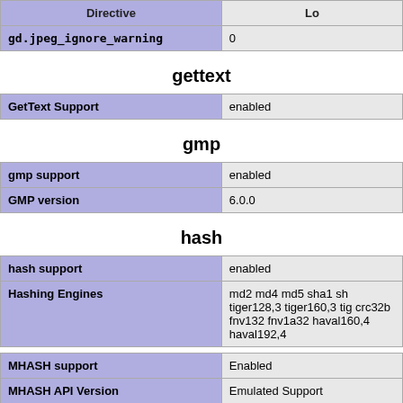| Directive | Lo |
| --- | --- |
| gd.jpeg_ignore_warning | 0 |
gettext
| GetText Support | enabled |
gmp
| gmp support | enabled |
| GMP version | 6.0.0 |
hash
| hash support | enabled |
| Hashing Engines | md2 md4 md5 sha1 sh tiger128,3 tiger160,3 tig crc32b fnv132 fnv1a32 haval160,4 haval192,4 |
| MHASH support | Enabled |
| MHASH API Version | Emulated Support |